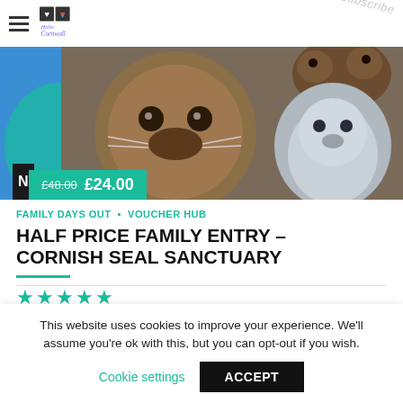Hello Cornwall - navigation header with hamburger menu and logo
[Figure (photo): Seals and otters close-up photo on a blue background banner. Price badge showing £48.00 struck through and £24.00 in teal.]
FAMILY DAYS OUT · VOUCHER HUB
HALF PRICE FAMILY ENTRY – CORNISH SEAL SANCTUARY
★★★★★
This website uses cookies to improve your experience. We'll assume you're ok with this, but you can opt-out if you wish.
Cookie settings  ACCEPT